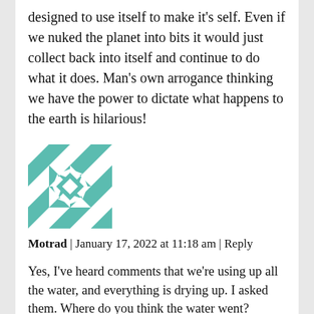designed to use itself to make it's self. Even if we nuked the planet into bits it would just collect back into itself and continue to do what it does. Man's own arrogance thinking we have the power to dictate what happens to the earth is hilarious!
[Figure (illustration): Square avatar image with a teal/white geometric quilt-style pattern featuring triangles and star shapes.]
Motrad | January 17, 2022 at 11:18 am | Reply
Yes, I've heard comments that we're using up all the water, and everything is drying up. I asked them. Where do you think the water went? There's as much water now as there ever was. It will never leave the